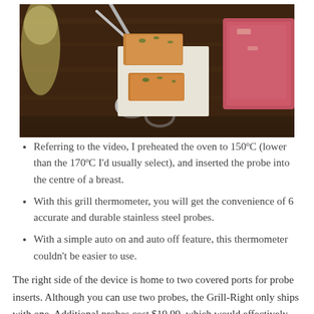[Figure (photo): Overhead photo of food items on a wooden cutting board, with metal scissors/tongs visible. Breaded/crusted food pieces are arranged on white paper, alongside a piece of raw meat. A glass of white wine is partially visible in the upper left.]
Referring to the video, I preheated the oven to 150ºC (lower than the 170ºC I'd usually select), and inserted the probe into the centre of a breast.
With this grill thermometer, you will get the convenience of 6 accurate and durable stainless steel probes.
With a simple auto on and auto off feature, this thermometer couldn't be easier to use.
The right side of the device is home to two covered ports for probe inserts. Although you can use two probes, the Grill-Right only ships with one. Additional probes cost $19.99, which would effectively make this the same price as the Kitchen Thermometer, which